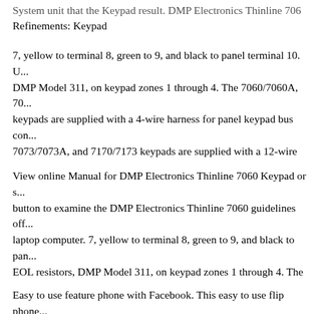System unit that the Keypad result. DMP Electronics Thinline 7060 Keypad
Refinements: Keypad
7, yellow to terminal 8, green to 9, and black to panel terminal 10. U... DMP Model 311, on keypad zones 1 through 4. The 7060/7060A, 70... keypads are supplied with a 4-wire harness for panel keypad bus con... 7073/7073A, and 7170/7173 keypads are supplied with a 12-wire DM... Manuals & User Guides. User Manuals, Guides and Specifications fo... Thinline 7060 Keypad. Database contains 3 DMP Electronics Thinli... for free online viewing or downloading in PDF): Manual , Installatio...
View online Manual for DMP Electronics Thinline 7060 Keypad or s... button to examine the DMP Electronics Thinline 7060 guidelines off... laptop computer. 7, yellow to terminal 8, green to 9, and black to pan... EOL resistors, DMP Model 311, on keypad zones 1 through 4. The 7... and 7160/7163 keypads are supplied with a 4-wire harness for panel... 7070/7070A, 7073/7073A, and 7170/7173 keypads are supplied with...
Easy to use feature phone with Facebook. This easy to use flip phone... number on the outside and has a large 2.8 inch screen on the inside. I...